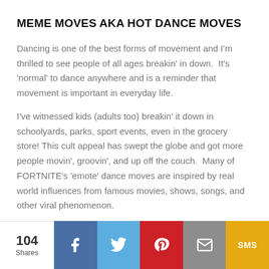MEME MOVES AKA HOT DANCE MOVES
Dancing is one of the best forms of movement and I'm thrilled to see people of all ages breakin' in down.  It's 'normal' to dance anywhere and is a reminder that movement is important in everyday life.
I've witnessed kids (adults too) breakin' it down in schoolyards, parks, sport events, even in the grocery store! This cult appeal has swept the globe and got more people movin', groovin', and up off the couch.  Many of FORTNITE's 'emote' dance moves are inspired by real world influences from famous movies, shows, songs, and other viral phenomenon.
104 Shares | Facebook | Twitter | Pinterest | Email | SMS